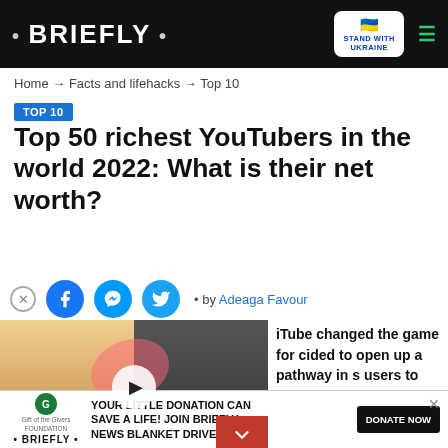• BRIEFLY •  |  STAND WITH UKRAINE  [hamburger menu]
Home → Facts and lifehacks → Top 10
TOP 10
Top 50 richest YouTubers in the world 2022: What is their net worth?
[Figure (screenshot): Social share icons: close (X), Facebook, Messenger, Twitter. Below: embedded video player showing two women, with a play button, caption 'SPARKS WHITEWASHING DEBATE', red chevron button.]
• by Adeaga Favour
iube changed the game for cided to open up a pathway in s users to earn. Gone are the eir sleeves and put in
[Figure (infographic): Bottom ad banner: Gift of the Givers Foundation logo, BRIEFLY logo, text 'YOUR LITTLE DONATION CAN SAVE A LIFE! JOIN BRIEFLY NEWS BLANKET DRIVE!', DONATE NOW button, close X]